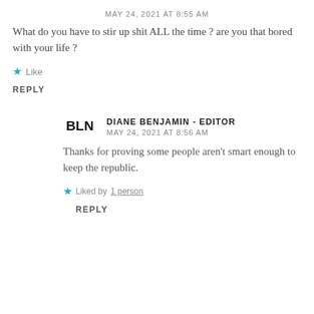MAY 24, 2021 AT 8:55 AM
What do you have to stir up shit ALL the time ? are you that bored with your life ?
★ Like
REPLY
BLN DIANE BENJAMIN - EDITOR MAY 24, 2021 AT 8:56 AM
Thanks for proving some people aren't smart enough to keep the republic.
★ Liked by 1 person
REPLY